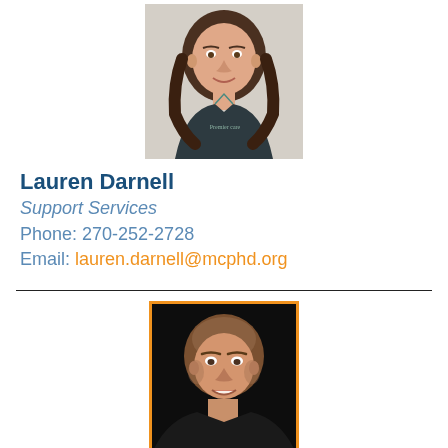[Figure (photo): Headshot of Lauren Darnell, a woman with long brown hair wearing dark scrubs, photographed against a light background]
Lauren Darnell
Support Services
Phone:  270-252-2728
Email: lauren.darnell@mcphd.org
[Figure (photo): Headshot of a woman with short brown hair, smiling, photographed against a dark background with an orange border frame]